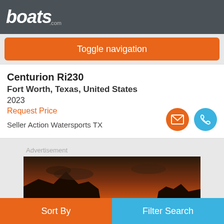boats.com
Toggle navigation
Centurion Ri230
Fort Worth, Texas, United States
2023
Request Price
Seller Action Watersports TX
Advertisement
[Figure (photo): Sunset landscape advertisement image with ocean and rocky cliffs, text OAHU partially visible]
Sort By
Filter Search